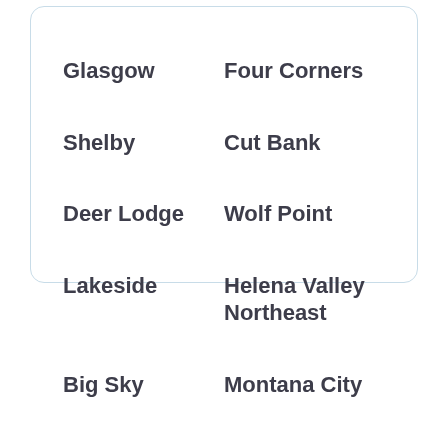Glasgow
Four Corners
Shelby
Cut Bank
Deer Lodge
Wolf Point
Lakeside
Helena Valley Northeast
Big Sky
Montana City